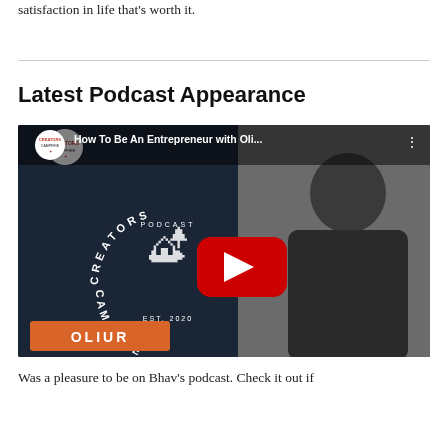satisfaction in life that's worth it.
Latest Podcast Appearance
[Figure (screenshot): YouTube video thumbnail for 'How To Be An Entrepreneur with Oli...' on the Creators Campfire podcast, featuring the channel logo, a play button, and a man wearing glasses on the right side. An orange bar at the bottom reads 'OLIUR'.]
Was a pleasure to be on Bhav's podcast. Check it out if